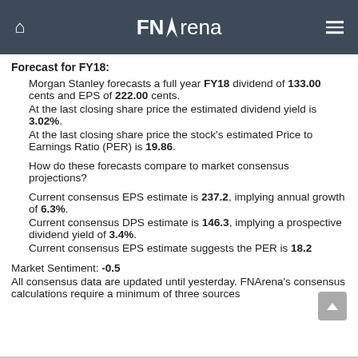FNArena
Forecast for FY18:
Morgan Stanley forecasts a full year FY18 dividend of 133.00 cents and EPS of 222.00 cents. At the last closing share price the estimated dividend yield is 3.02%. At the last closing share price the stock's estimated Price to Earnings Ratio (PER) is 19.86.
How do these forecasts compare to market consensus projections?
Current consensus EPS estimate is 237.2, implying annual growth of 6.3%. Current consensus DPS estimate is 146.3, implying a prospective dividend yield of 3.4%. Current consensus EPS estimate suggests the PER is 18.2
Market Sentiment: -0.5
All consensus data are updated until yesterday. FNArena's consensus calculations require a minimum of three sources